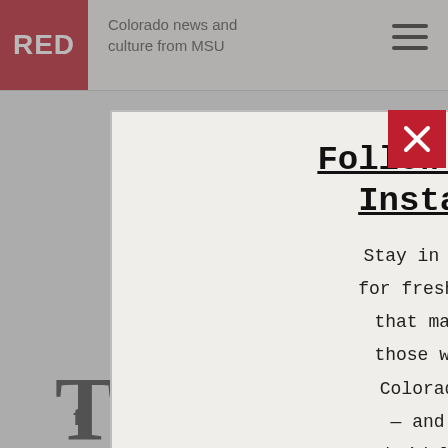Colorado news and culture from MSU
Follow RED on Instagram
Stay in the loop for fresh stories that matter to those who call Colorado home — and those who'd like to.